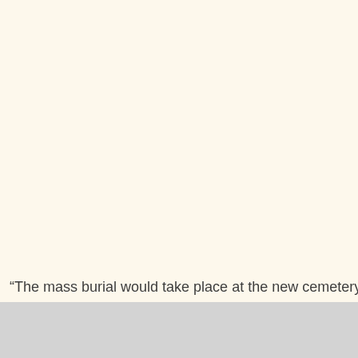“The mass burial would take place at the new cemetery of